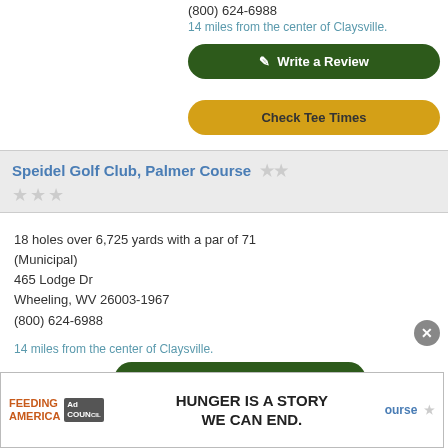(800) 624-6988
14 miles from the center of Claysville.
✎ Write a Review
Check Tee Times
Speidel Golf Club, Palmer Course
18 holes over 6,725 yards with a par of 71 (Municipal)
465 Lodge Dr
Wheeling, WV 26003-1967
(800) 624-6988
14 miles from the center of Claysville.
✎ Write a Review
Check Tee Times
[Figure (other): Advertisement banner: Feeding America logo with 'HUNGER IS A STORY WE CAN END.' text and Ad Council badge, with close button (X)]